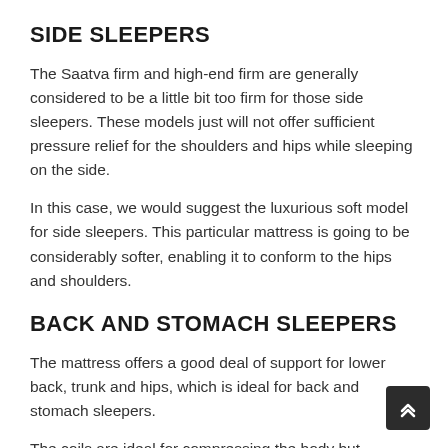SIDE SLEEPERS
The Saatva firm and high-end firm are generally considered to be a little bit too firm for those side sleepers. These models just will not offer sufficient pressure relief for the shoulders and hips while sleeping on the side.
In this case, we would suggest the luxurious soft model for side sleepers. This particular mattress is going to be considerably softer, enabling it to conform to the hips and shoulders.
BACK AND STOMACH SLEEPERS
The mattress offers a good deal of support for lower back, trunk and hips, which is ideal for back and stomach sleepers.
The coils are ideal for compressing the body but